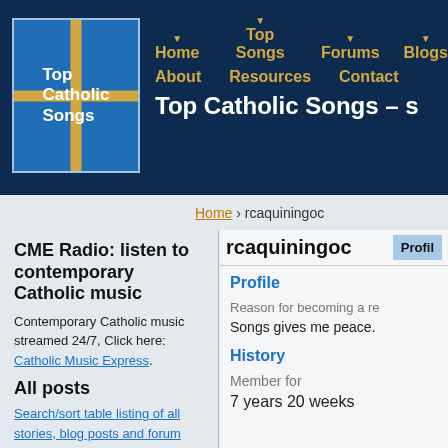[Figure (logo): Top Catholic Songs logo with blue background and gold cross]
Home  Top Songs  Forums  Blogs  About  Resources  Contact  Top Catholic Songs – s
Home › rcaquiningoc
CME Radio: listen to contemporary Catholic music
Contemporary Catholic music streamed 24/7, Click here: Catholic Music Express.
All posts
Search/sort table listing of all stories, blog posts and forum topics
rcaquiningoc  Profil
Profile
Reason for becoming a re
Songs gives me peace.
History
Member for
7 years 20 weeks